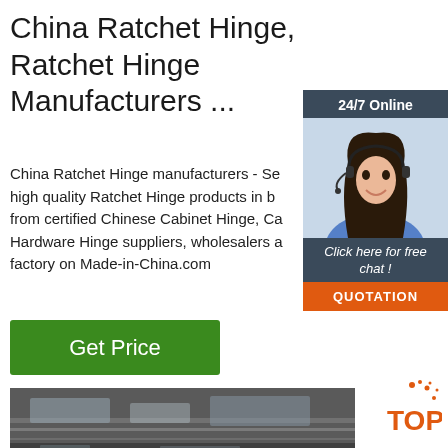China Ratchet Hinge, Ratchet Hinge Manufacturers ...
China Ratchet Hinge manufacturers - Se high quality Ratchet Hinge products in b from certified Chinese Cabinet Hinge, Ca Hardware Hinge suppliers, wholesalers a factory on Made-in-China.com
[Figure (other): 24/7 Online customer service chat widget with woman wearing headset]
Get Price
[Figure (photo): Industrial or commercial metal conveyor/escalator surface photo]
[Figure (logo): TOP badge logo in orange]